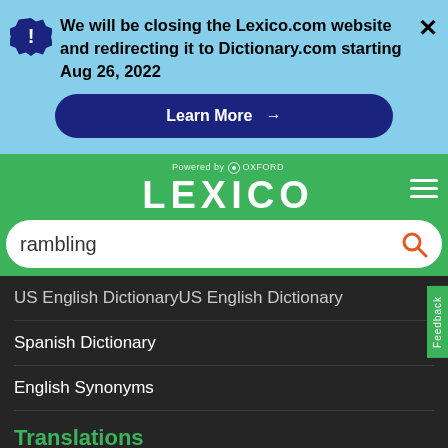We will be closing the Lexico.com website and redirecting it to Dictionary.com starting Aug 26, 2022
Learn More →
[Figure (screenshot): Lexico powered by Oxford logo in green header with hamburger menu]
rambling
US English Dictionary
Spanish Dictionary
English Synonyms
Translations
Spanish to English
READ MORE
on Newz Online